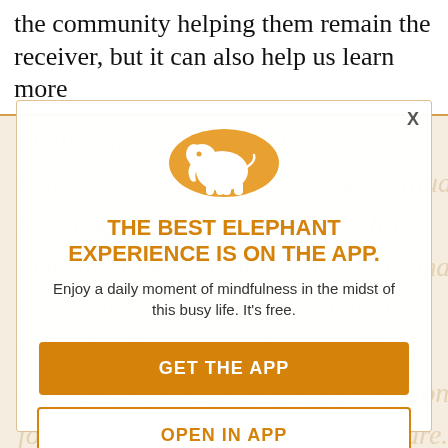the community helping them remain the receiver, but it can also help us learn more
about ourselves. It is a free way to learn new skills and assess our aptitude for things we're curious about. It is amazing to watch the impact even small tasks can have on someone being helped. When we reach out and help others, we develop a new appreciation for how full our own lives already are. Ways to reach out: Ask libraries, religious organizations and community colleges to sponsor any volunteer groups. Look for volunteer opportunities in a local newspaper or
[Figure (logo): Orange circle with white elephant silhouette inside]
THE BEST ELEPHANT EXPERIENCE IS ON THE APP.
Enjoy a daily moment of mindfulness in the midst of this busy life. It's free.
GET THE APP
OPEN IN APP